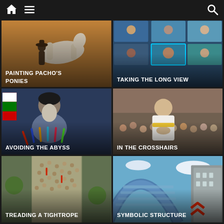[Figure (screenshot): News website app interface with dark navigation bar (home icon, hamburger menu, search icon) and red top stripe]
[Figure (photo): Photo of a person with a horse in warm tones, with overlaid text 'PAINTING PACHO'S PONIES']
[Figure (photo): Video conference / online panel screenshot with multiple participants, overlaid text 'TAKING THE LONG VIEW']
[Figure (photo): Cleric speaking at podium with microphones in front of Iraqi flag, overlaid text 'AVOIDING THE ABYSS']
[Figure (photo): Politician greeting crowd with hands pressed together (namaste gesture), overlaid text 'IN THE CROSSHAIRS']
[Figure (photo): Large street protest crowd from aerial view, overlaid text 'TREADING A TIGHTROPE']
[Figure (photo): Bridge arch structure from below against blue sky, with red chevron logo, overlaid text 'SYMBOLIC STRUCTURE']